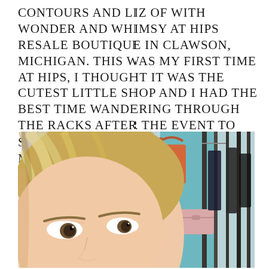CONTOURS AND LIZ OF WITH WONDER AND WHIMSY AT HIPS RESALE BOUTIQUE IN CLAWSON, MICHIGAN. THIS WAS MY FIRST TIME AT HIPS, I THOUGHT IT WAS THE CUTEST LITTLE SHOP AND I HAD THE BEST TIME WANDERING THROUGH THE RACKS AFTER THE EVENT TO SCORE SOME GREAT DEALS WITH MIMOSA IN HAND. 😉
[Figure (photo): Selfie photo of a woman with blonde highlighted hair taking a photo in a resale boutique. Behind her are hanging clothing racks, an orange bag, a pink clutch purse, and other items on display.]